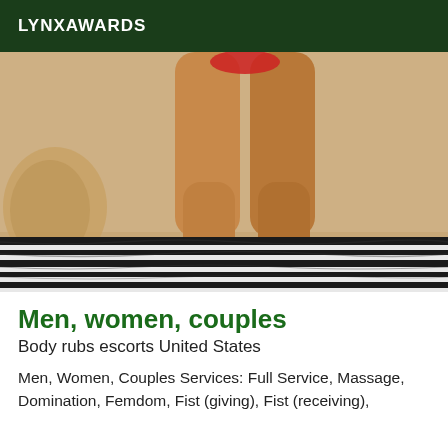LYNXAWARDS
[Figure (photo): Photo of a person's legs standing on a zebra-patterned bed with a beige/tan wall background]
Men, women, couples
Body rubs escorts United States
Men, Women, Couples Services: Full Service, Massage, Domination, Femdom, Fist (giving), Fist (receiving),